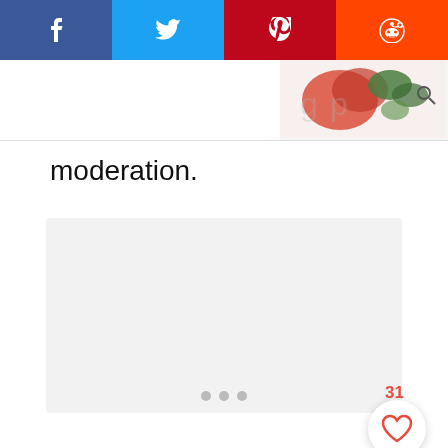[Figure (screenshot): Social share bar with Facebook, Twitter, Pinterest, and Reddit buttons at the top of a webpage]
[Figure (photo): Partial food photo showing tomatoes and green herbs/vegetables on a white background, part of a website header]
moderation.
[Figure (screenshot): Light gray content block placeholder area with three dot indicators at bottom, a heart/like button showing 31 likes, and an orange search button]